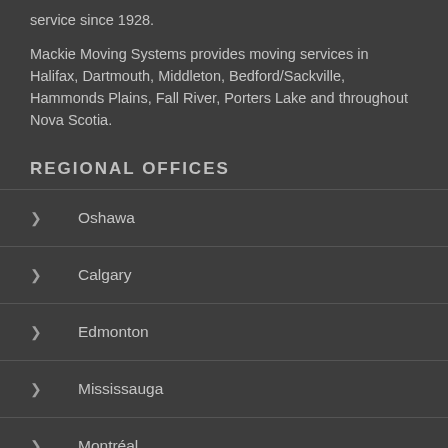service since 1928.
Mackie Moving Systems provides moving services in Halifax, Dartmouth, Middleton, Bedford/Sackville, Hammonds Plains, Fall River, Porters Lake and throughout Nova Scotia.
REGIONAL OFFICES
Oshawa
Calgary
Edmonton
Mississauga
Montréal
Middleton
Halif…